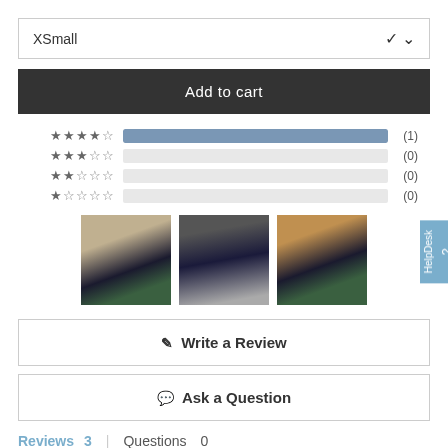XSmall
Add to cart
[Figure (infographic): Rating bars showing star distribution: 4-star (1), 3-star (0), 2-star (0), 1-star (0)]
[Figure (photo): Three product thumbnail photos showing dark pants/leggings]
Write a Review
Ask a Question
Reviews 3   Questions 0